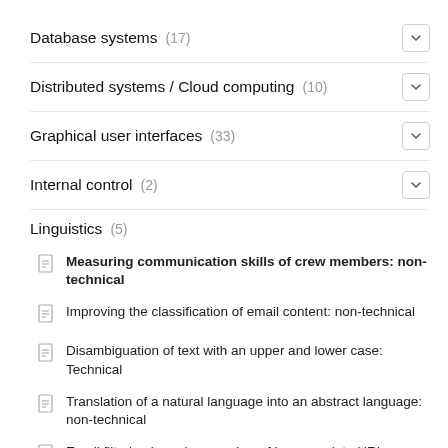Database systems (17)
Distributed systems / Cloud computing (10)
Graphical user interfaces (33)
Internal control (2)
Linguistics (5)
Measuring communication skills of crew members: non-technical
Improving the classification of email content: non-technical
Disambiguation of text with an upper and lower case: Technical
Translation of a natural language into an abstract language: non-technical
Email filtering based on number of inappropriate URLs: non-technical
Logistics (1)